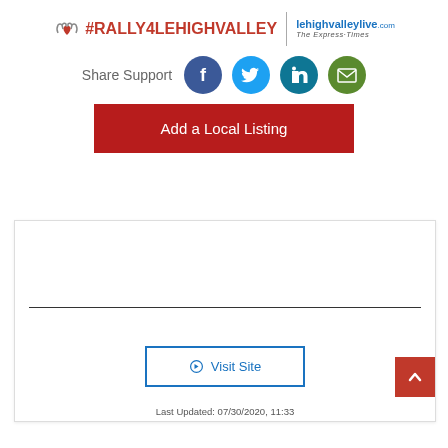[Figure (logo): Rally4LehighValley logo with hands icon, hashtag #RALLY4LEHIGHVALLEY text, and lehighvalleylive.com / The Express-Times branding]
Share Support
[Figure (infographic): Social media icons: Facebook (dark blue), Twitter (light blue), LinkedIn (dark teal), Email (green)]
Add a Local Listing
[Figure (other): White card area with horizontal dividing line]
Visit Site
Last Updated: 07/30/2020, 11:33